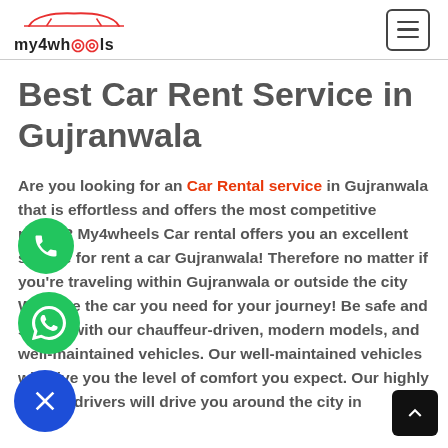my4wheels — navigation header with logo and hamburger menu
Best Car Rent Service in Gujranwala
Are you looking for an Car Rental service in Gujranwala that is effortless and offers the most competitive prices? My4wheels Car rental offers you an excellent service for rent a car Gujranwala! Therefore no matter if you're traveling within Gujranwala or outside the city We have the car you need for your journey! Be safe and secure with our chauffeur-driven, modern models, and well-maintained vehicles. Our well-maintained vehicles will give you the level of comfort you expect. Our highly trained drivers will drive you around the city in